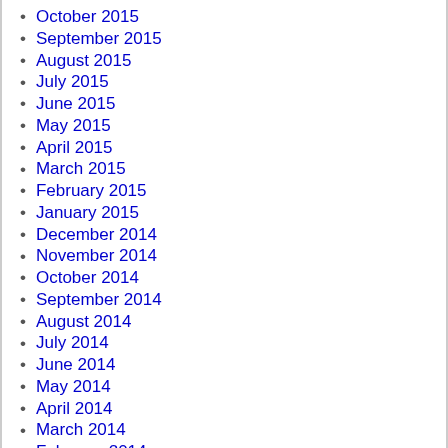October 2015
September 2015
August 2015
July 2015
June 2015
May 2015
April 2015
March 2015
February 2015
January 2015
December 2014
November 2014
October 2014
September 2014
August 2014
July 2014
June 2014
May 2014
April 2014
March 2014
February 2014
January 2014